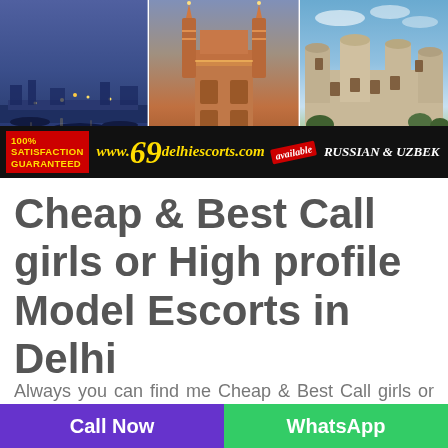[Figure (photo): Collage of three Indian city landmark photos (Varanasi ghats at dusk, Charminar Hyderabad at night, Udaipur City Palace) with a dark overlay bar at bottom showing '100% Satisfaction Guaranteed', 'www.69delhiescorts.com', 'available', 'Russian & Uzbek']
Cheap & Best Call girls or High profile Model Escorts in Delhi
Always you can find me Cheap & Best Call girls or High profile Model Escorts in Delhi service with happy and cooperative escort staff
Call Now
WhatsApp